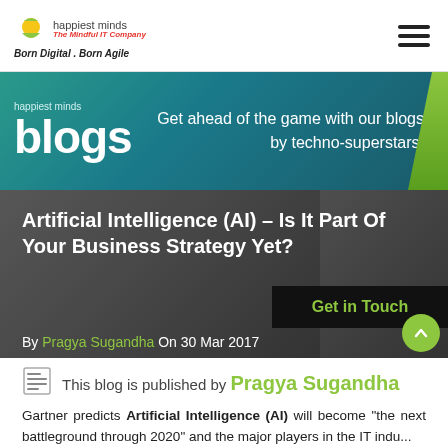happiest minds — Born Digital . Born Agile
[Figure (screenshot): Happiest Minds blogs banner with teal/green gradient background, large 'blogs' text on left, tagline 'Get ahead of the game with our blogs by techno-superstars.' on right, with green diagonal accent on far right]
[Figure (photo): Black and white hero image of a person using a smartphone, with overlaid title text 'Artificial Intelligence (AI) – Is It Part Of Your Business Strategy Yet?' and 'Get in Touch' CTA button, byline 'By Pragya Sugandha On 30 Mar 2017']
This blog is published by Pragya Sugandha
Gartner predicts Artificial Intelligence (AI) will become "the next battleground through 2020" and the major players in the IT industry...